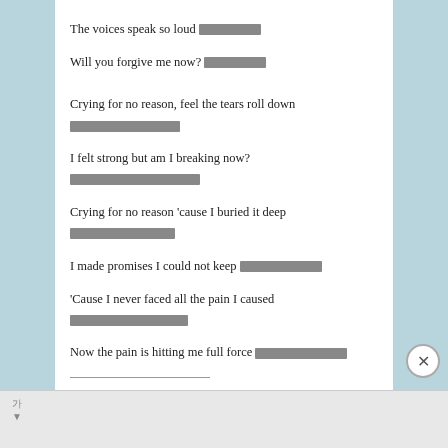The voices speak so loud [redacted]
Will you forgive me now? [redacted]
Crying for no reason, feel the tears roll down [redacted]
I felt strong but am I breaking now? [redacted]
Crying for no reason 'cause I buried it deep [redacted]
I made promises I could not keep [redacted]
'Cause I never faced all the pain I caused [redacted]
Now the pain is hitting me full force [redacted]
SHARE THIS:
Print [redacted]   Email [redacted]   Facebook
xxxx...
[Korean characters]